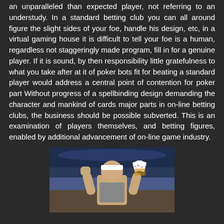an unparalleled than expected player, not referring to an understudy. In a standard betting club you can all around figure the slight sides of your foe, handle his design, etc, in a virtual gaming house it is difficult to tell your foe is a human, regardless not staggeringly made program, fill in for a genuine player. If it is sound, by then responsibility little gratefulness to what you take after at it of poker bots fit for beating a standard player would address a central point of contention for poker part Without progress of a spellbinding design demanding the character and mankind of cards major parts in on-line betting clubs, the business should be possible subverted. This is an examination of players themselves, and betting figures, enabled by additional advancement of on-line game industry.
[Figure (photo): A person wearing a white headband holding playing cards and raising a fist in celebration, photographed in what appears to be a sports or casino setting.]